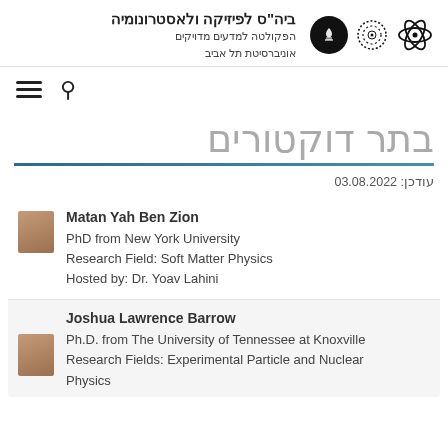ביה"ס לפיזיקה ולאסטרונומיה
הפקולטה למדעים מדויקים
אוניברסיטת תל אביב
בתר דוקטורים
עודכן: 03.08.2022
Matan Yah Ben Zion
PhD from New York University
Research Field: Soft Matter Physics
Hosted by: Dr. Yoav Lahini
Joshua Lawrence Barrow
Ph.D. from The University of Tennessee at Knoxville
Research Fields: Experimental Particle and Nuclear Physics